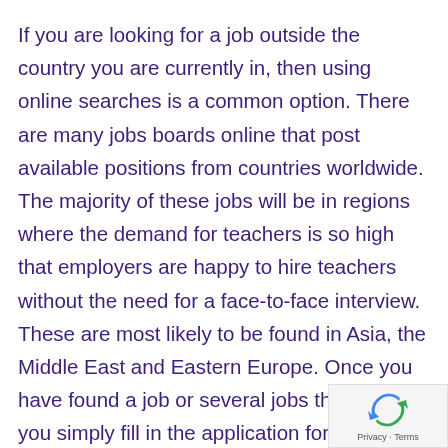If you are looking for a job outside the country you are currently in, then using online searches is a common option. There are many jobs boards online that post available positions from countries worldwide. The majority of these jobs will be in regions where the demand for teachers is so high that employers are happy to hire teachers without the need for a face-to-face interview. These are most likely to be found in Asia, the Middle East and Eastern Europe. Once you have found a job or several jobs that interest you simply fill in the application form online or send in your CV/resume and wait for a response. If successful the next step will probably be an interview via Skype or even telephone.